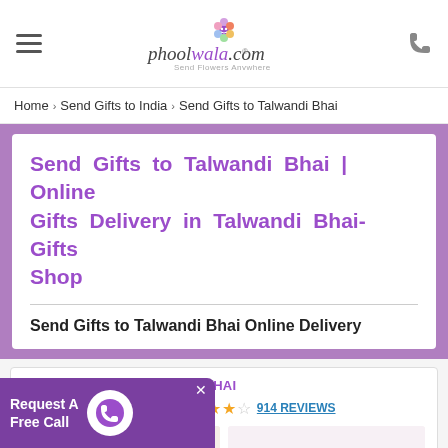phoolwala.com — Send Flowers Anywhere
Home › Send Gifts to India › Send Gifts to Talwandi Bhai
Send Gifts to Talwandi Bhai | Online Gifts Delivery in Talwandi Bhai- Gifts Shop
Send Gifts to Talwandi Bhai Online Delivery
SEND GIFTS TO TALWANDI BHAI
4.55 / 5  914 REVIEWS
[Figure (photo): Two product images: left showing orange/red gerbera flowers, right showing pink carnation flowers]
Request A Free Call